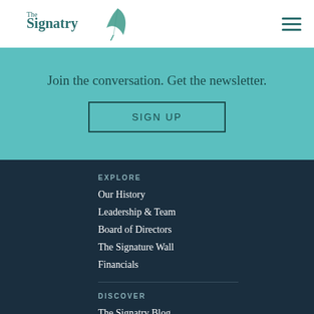[Figure (logo): The Signatry logo with feather quill icon in teal]
Join the conversation. Get the newsletter.
SIGN UP
EXPLORE
Our History
Leadership & Team
Board of Directors
The Signature Wall
Financials
DISCOVER
The Signatry Blog
Impact Report